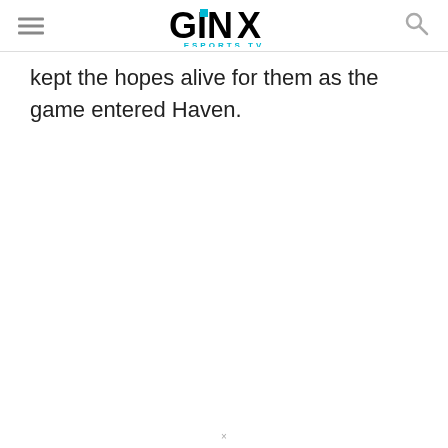GINX ESPORTS TV
kept the hopes alive for them as the game entered Haven.
×